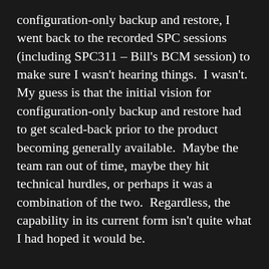configuration-only backup and restore, I went back to the recorded SPC sessions (including SPC311 – Bill's BCM session) to make sure I wasn't hearing things.  I wasn't.  My guess is that the initial vision for configuration-only backup and restore had to get scaled-back prior to the product becoming generally available.  Maybe the team ran out of time, maybe they hit technical hurdles, or perhaps it was a combination of the two.  Regardless, the capability in its current form isn't quite what I had hoped it would be.
Enough with the hand-waving.  Let's dive in.